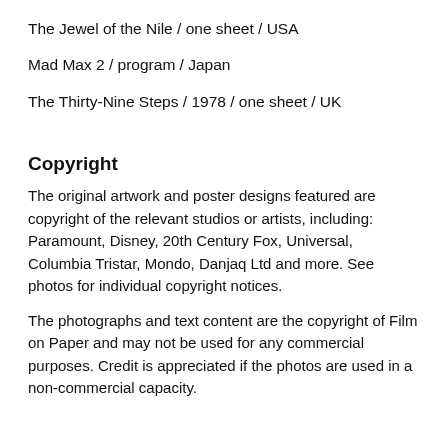The Jewel of the Nile / one sheet / USA
Mad Max 2 / program / Japan
The Thirty-Nine Steps / 1978 / one sheet / UK
Copyright
The original artwork and poster designs featured are copyright of the relevant studios or artists, including: Paramount, Disney, 20th Century Fox, Universal, Columbia Tristar, Mondo, Danjaq Ltd and more. See photos for individual copyright notices.
The photographs and text content are the copyright of Film on Paper and may not be used for any commercial purposes. Credit is appreciated if the photos are used in a non-commercial capacity.
About Film On Paper
The site Film on Paper is an archive of original film posters